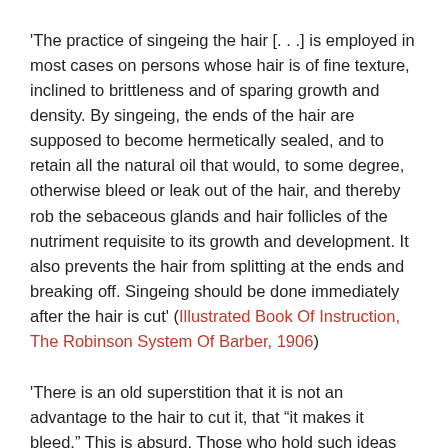'The practice of singeing the hair [...] is employed in most cases on persons whose hair is of fine texture, inclined to brittleness and of sparing growth and density. By singeing, the ends of the hair are supposed to become hermetically sealed, and to retain all the natural oil that would, to some degree, otherwise bleed or leak out of the hair, and thereby rob the sebaceous glands and hair follicles of the nutriment requisite to its growth and development. It also prevents the hair from splitting at the ends and breaking off. Singeing should be done immediately after the hair is cut' (Illustrated Book Of Instruction, The Robinson System Of Barber, 1906)
'There is an old superstition that it is not an advantage to the hair to cut it, that "it makes it bleed." This is absurd. Those who hold such ideas recommend singeing the hair. [...] It requires some one very skillful to do this without burning off the long hairs as well as the short ones. The